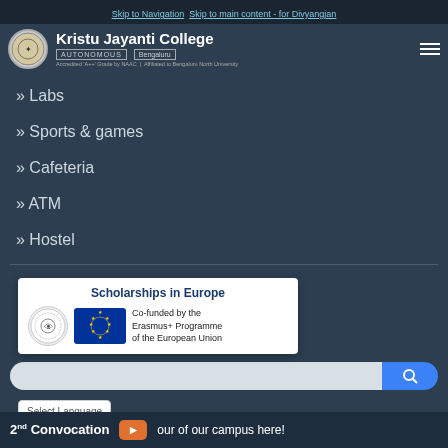Skip to Navigation  Skip to main content - for Divyangjan
[Figure (logo): Kristu Jayanti College Autonomous Bengaluru logo with college seal]
» Labs
» Sports & games
» Cafeteria
» ATM
» Hostel
[Figure (infographic): Scholarships in Europe advertisement banner co-funded by the Erasmus+ Programme of the European Union]
Select Language
Powered by Google
2nd Convocation  our of our campus here!